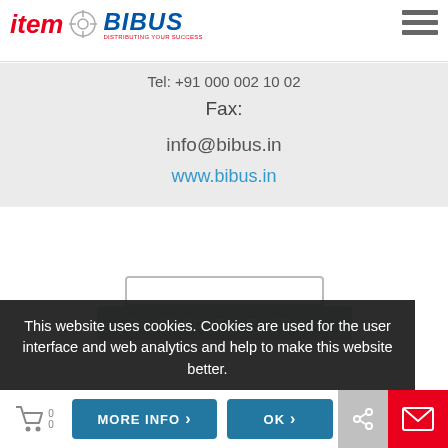[Figure (logo): item and BIBUS logos with hamburger menu icon in top right]
Tel: +91 000 002 10 02
Fax:
info@bibus.in
www.bibus.in
This website uses cookies. Cookies are used for the user interface and web analytics and help to make this website better.
GO TO CONTACT FORM
MORE INFO
OK